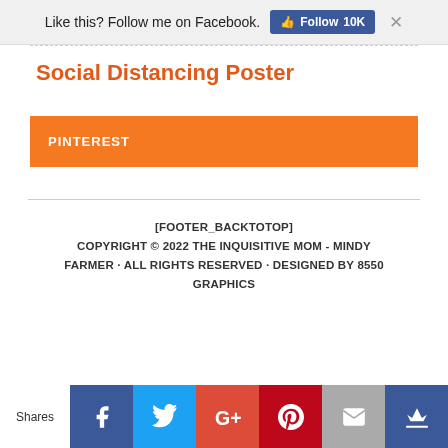Like this? Follow me on Facebook. [Follow 10K] ×
Social Distancing Poster
PINTEREST
[FOOTER_BACKTOTOP] COPYRIGHT © 2022 THE INQUISITIVE MOM - MINDY FARMER · ALL RIGHTS RESERVED · DESIGNED BY 8550 GRAPHICS
[Figure (infographic): Social media share bar with icons: Facebook, Twitter, Google+, Pinterest, Email, Crown. Left side shows 'Shares' label.]